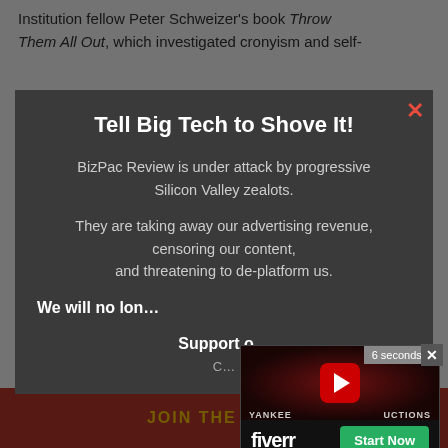Institution fellow Peter Schweizer's book Throw Them All Out, which investigated cronyism and self-…
Tell Big Tech to Shove It!
BizPac Review is under attack by progressive Silicon Valley zealots.

They are taking away our advertising revenue, censoring our content, and threatening to de-platform us.

We will no lon…
Support o… C…
ADVERTISEMENT
JOIN THE FIGHT
[Figure (screenshot): Video advertisement overlay showing a dark red background with YouTube-style play button and YANKEE PRODUCTIONS text, with Fiverr branding and Start Now button, plus 6 seconds countdown timer.]